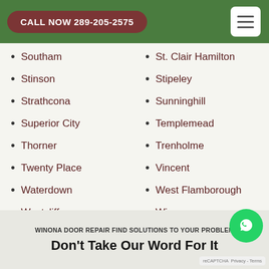CALL NOW 289-205-2575
Southam
St. Clair Hamilton
Stinson
Stipeley
Strathcona
Sunninghill
Superior City
Templemead
Thorner
Trenholme
Twenty Place
Vincent
Waterdown
West Flamborough
Westcliffe
Winona
Yeoville
WINONA DOOR REPAIR FIND SOLUTIONS TO YOUR PROBLEM
Don't Take Our Word For It